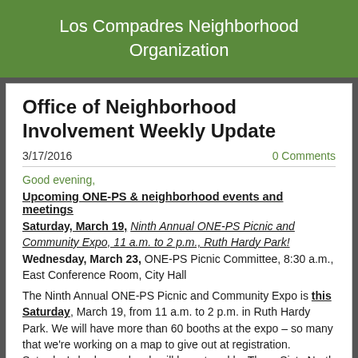Los Compadres Neighborhood Organization
Office of Neighborhood Involvement Weekly Update
3/17/2016
0 Comments
Good evening,
Upcoming ONE-PS & neighborhood events and meetings
Saturday, March 19, Ninth Annual ONE-PS Picnic and Community Expo, 11 a.m. to 2 p.m., Ruth Hardy Park!
Wednesday, March 23, ONE-PS Picnic Committee, 8:30 a.m., East Conference Room, City Hall
The Ninth Annual ONE-PS Picnic and Community Expo is this Saturday, March 19, from 11 a.m. to 2 p.m. in Ruth Hardy Park. We will have more than 60 booths at the expo – so many that we're working on a map to give out at registration. Saturday's barbeque lunch will be catered by Three Sixty North Bar and Grill and we've